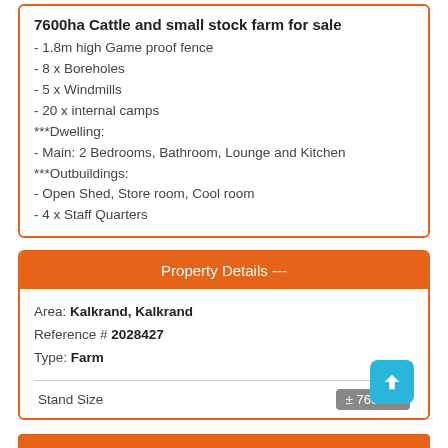7600ha Cattle and small stock farm for sale
- 1.8m high Game proof fence
- 8 x Boreholes
- 5 x Windmills
- 20 x internal camps
***Dwelling:
- Main: 2 Bedrooms, Bathroom, Lounge and Kitchen
***Outbuildings:
- Open Shed, Store room, Cool room
- 4 x Staff Quarters
Property Details ---
Area: Kalkrand, Kalkrand
Reference # 2028427
Type: Farm
| Stand Size | ± 7600ha |
| --- | --- |